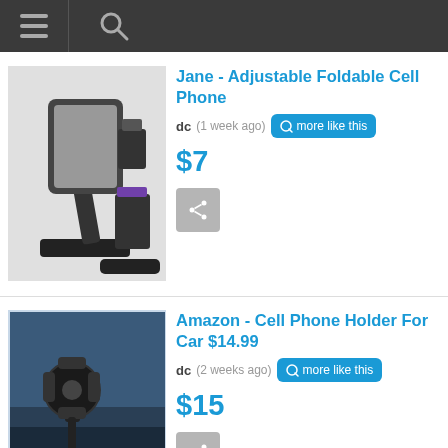Navigation bar with menu and search icons
[Figure (photo): Product photo of adjustable foldable cell phone stand, black, shown from multiple angles]
Jane - Adjustable Foldable Cell Phone
dc  (1 week ago)  more like this
$7
[Figure (photo): Product photo of car cell phone holder mounted in a car dashboard]
Amazon - Cell Phone Holder For Car $14.99
dc  (2 weeks ago)  more like this
$15